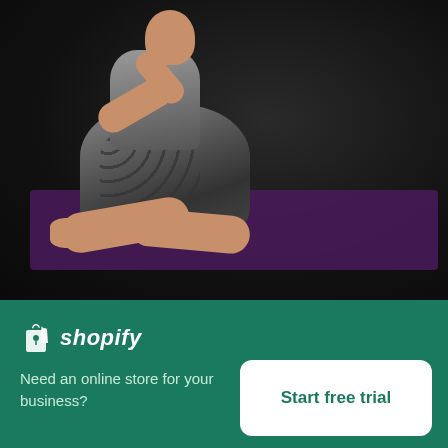[Figure (photo): Woman sitting in a yoga pose on a purple yoga mat against a dark background, wearing grey/black athletic leggings and a grey top]
Woman Sits In Yoga Pose
High resolution download ↓
[Figure (logo): Shopify logo with shopping bag icon and italic shopify text in white on green background]
Need an online store for your business?
Start free trial